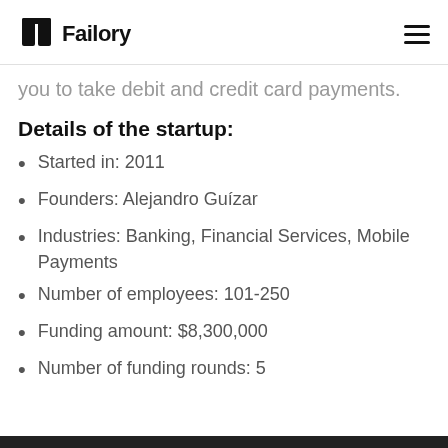Failory
you to take debit and credit card payments.
Details of the startup:
Started in: 2011
Founders: Alejandro Guízar
Industries: Banking, Financial Services, Mobile Payments
Number of employees: 101-250
Funding amount: $8,300,000
Number of funding rounds: 5